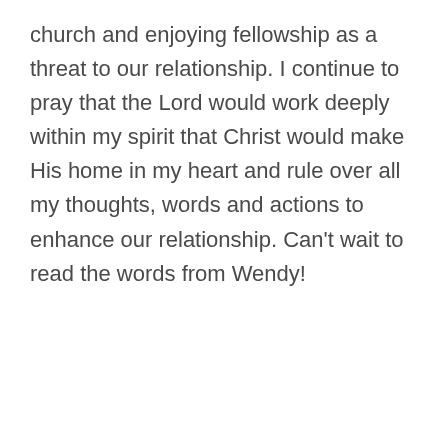church and enjoying fellowship as a threat to our relationship. I continue to pray that the Lord would work deeply within my spirit that Christ would make His home in my heart and rule over all my thoughts, words and actions to enhance our relationship. Can't wait to read the words from Wendy!
Reply